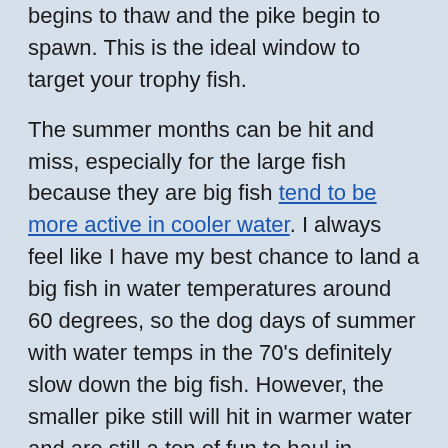begins to thaw and the pike begin to spawn. This is the ideal window to target your trophy fish.
The summer months can be hit and miss, especially for the large fish because they are big fish tend to be more active in cooler water. I always feel like I have my best chance to land a big fish in water temperatures around 60 degrees, so the dog days of summer with water temps in the 70's definitely slow down the big fish. However, the smaller pike still will hit in warmer water and are still a ton of fun to haul in.
One of the great things about fishing for pike is they can be found in numerous parts of the water at any given time. If you love moving around the lake, and fishing different spots then the Northern Pike is the fish for you.